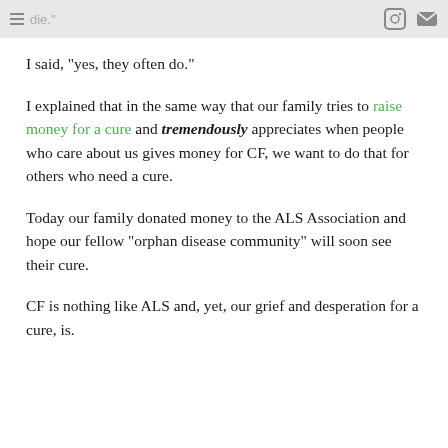die."
I said, "yes, they often do."
I explained that in the same way that our family tries to raise money for a cure and tremendously appreciates when people who care about us gives money for CF, we want to do that for others who need a cure.
Today our family donated money to the ALS Association and hope our fellow "orphan disease community" will soon see their cure.
CF is nothing like ALS and, yet, our grief and desperation for a cure, is.